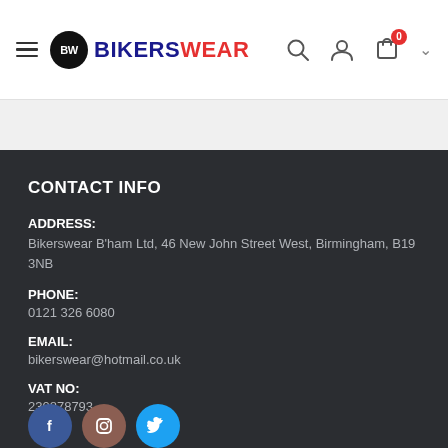BIKERS WEAR
CONTACT INFO
ADDRESS:
Bikerswear B'ham Ltd, 46 New John Street West, Birmingham, B19 3NB
PHONE:
0121 326 6080
EMAIL:
bikerswear@hotmail.co.uk
VAT NO:
230878793